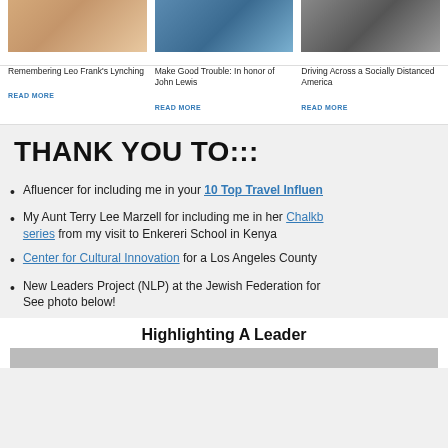[Figure (photo): Photo of person in warm tones (Leo Frank article)]
Remembering Leo Frank's Lynching
READ MORE
[Figure (photo): Photo of person in blue suit (John Lewis article)]
Make Good Trouble: In honor of John Lewis
READ MORE
[Figure (photo): Black and white photo (Driving Across a Socially Distanced America article)]
Driving Across a Socially Distanced America
READ MORE
THANK YOU TO:::
Afluencer for including me in your 10 Top Travel Influen…
My Aunt Terry Lee Marzell for including me in her Chalkb… series from my visit to Enkereri School in Kenya
Center for Cultural Innovation for a Los Angeles County…
New Leaders Project (NLP) at the Jewish Federation for… See photo below!
Highlighting A Leader